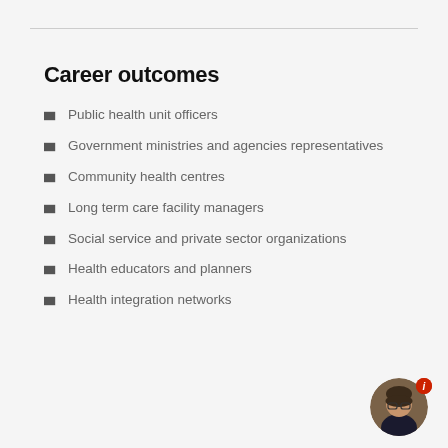Career outcomes
Public health unit officers
Government ministries and agencies representatives
Community health centres
Long term care facility managers
Social service and private sector organizations
Health educators and planners
Health integration networks
[Figure (photo): Circular avatar photo of a woman with glasses wearing dark clothing, with a red notification badge showing the letter i]